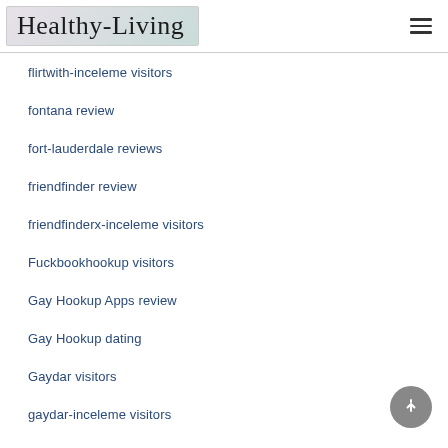Healthy-Living
flirtwith-inceleme visitors
fontana review
fort-lauderdale reviews
friendfinder review
friendfinderx-inceleme visitors
Fuckbookhookup visitors
Gay Hookup Apps review
Gay Hookup dating
Gaydar visitors
gaydar-inceleme visitors